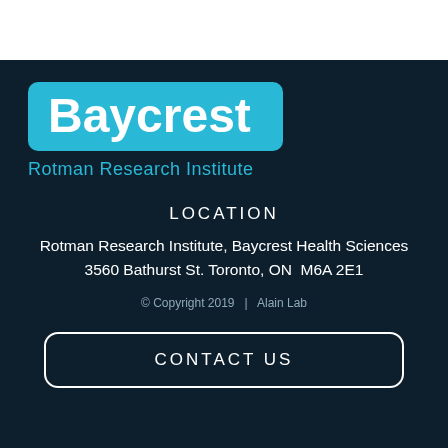[Figure (logo): Baycrest logo — cyan/light-blue rounded rectangle with white bold 'Baycrest' text, below which 'Rotman Research Institute' appears in cyan text on dark navy background]
LOCATION
Rotman Research Institute, Baycrest Health Sciences
3560 Bathurst St. Toronto, ON  M6A 2E1
© Copyright 2019   |   Alain Lab
CONTACT US